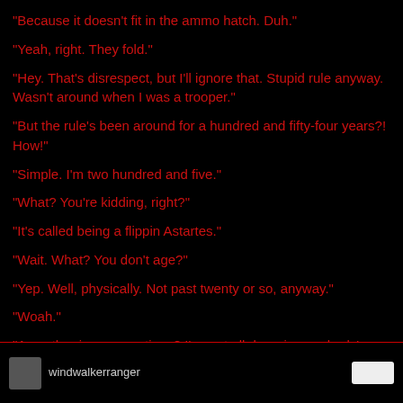"Because it doesn't fit in the ammo hatch. Duh."
"Yeah, right. They fold."
"Hey. That's disrespect, but I'll ignore that. Stupid rule anyway. Wasn't around when I was a trooper."
"But the rule's been around for a hundred and fifty-four years?! How!"
"Simple. I'm two hundred and five."
"What? You're kidding, right?"
"It's called being a flippin Astartes."
"Wait. What? You don't age?"
"Yep. Well, physically. Not past twenty or so, anyway."
"Woah."
"Any other inane questions? I've got all day, since nobody's been injured. Yet."
windwalkerranger